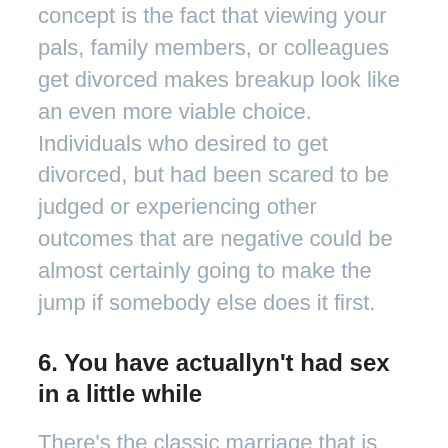concept is the fact that viewing your pals, family members, or colleagues get divorced makes breakup look like an even more viable choice. Individuals who desired to get divorced, but had been scared to be judged or experiencing other outcomes that are negative could be almost certainly going to make the jump if somebody else does it first.
6. You have actuallyn't had sex in a little while
There's the classic marriage that is sex-starved by which partners stop making love but nonetheless would you like to repair it, then there's the wedding in which you can't recall the final time you made it happen, and you also don't also